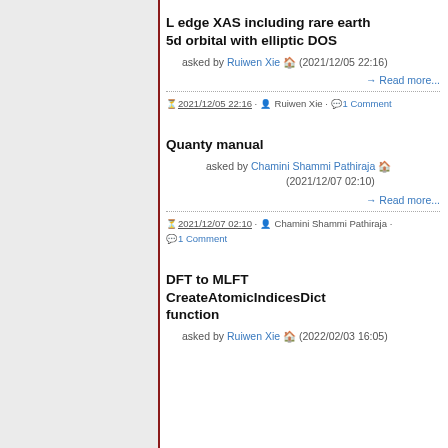L edge XAS including rare earth 5d orbital with elliptic DOS
asked by Ruiwen Xie (2021/12/05 22:16)
→ Read more...
2021/12/05 22:16 · Ruiwen Xie · 1 Comment
Quanty manual
asked by Chamini Shammi Pathiraja (2021/12/07 02:10)
→ Read more...
2021/12/07 02:10 · Chamini Shammi Pathiraja · 1 Comment
DFT to MLFT CreateAtomicIndicesDict function
asked by Ruiwen Xie (2022/02/03 16:05)